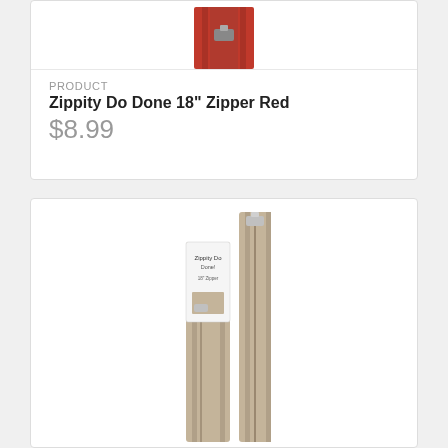[Figure (photo): Red zipper product image — Zippity Do Done 18 inch Zipper Red]
PRODUCT
Zippity Do Done 18" Zipper Red
$8.99
[Figure (photo): Tan zipper product image — Zippity Do Done 18 inch Zipper Tan, showing packaged and unpackaged zipper]
PRODUCT
Zippity Do Done 18" Zipper Tan
$8.99